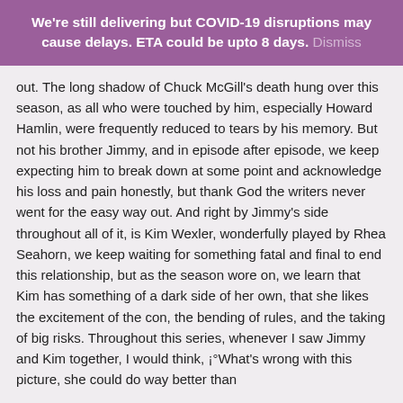We're still delivering but COVID-19 disruptions may cause delays. ETA could be upto 8 days. Dismiss
out. The long shadow of Chuck McGill's death hung over this season, as all who were touched by him, especially Howard Hamlin, were frequently reduced to tears by his memory. But not his brother Jimmy, and in episode after episode, we keep expecting him to break down at some point and acknowledge his loss and pain honestly, but thank God the writers never went for the easy way out. And right by Jimmy's side throughout all of it, is Kim Wexler, wonderfully played by Rhea Seahorn, we keep waiting for something fatal and final to end this relationship, but as the season wore on, we learn that Kim has something of a dark side of her own, that she likes the excitement of the con, the bending of rules, and the taking of big risks. Throughout this series, whenever I saw Jimmy and Kim together, I would think, ¡°What's wrong with this picture, she could do way better than